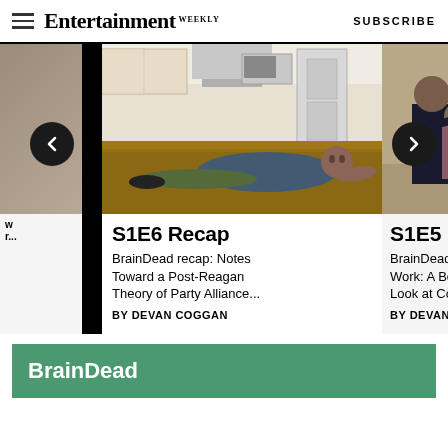Entertainment Weekly — SUBSCRIBE
[Figure (screenshot): Carousel of BrainDead recap articles. Center card shows S1E6 Recap with a man lying on a kitchen floor. Right partial card shows S1E5 Recap with people near an American flag. Navigation arrows visible.]
S1E6 Recap
BrainDead recap: Notes Toward a Post-Reagan Theory of Party Alliance...
BY DEVAN COGGAN
S1E5 Recap
BrainDead recap: Bac… Work: A Behind-the-S… Look at Congress and…
BY DEVAN COGGAN
BrainDead